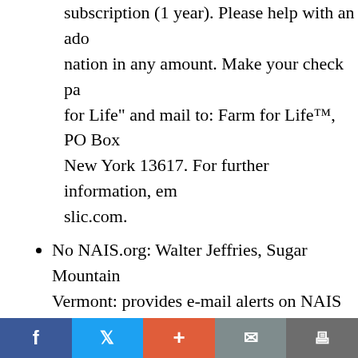subscription (1 year). Please help with an additional donation in any amount. Make your check payable for Life” and mail to: Farm for Life™, PO Box, New York 13617. For further information, email slic.com.
No NAIS.org: Walter Jeffries, Sugar Mountain, Vermont: provides e-mail alerts on NAIS issues. http://nonais.org/.
Stop Animal ID.org: Online grassroots organization to stop NAIS; their website includes information you can do to oppose NAIS: http://www.stop
Organic Consumers Association (OCA): article